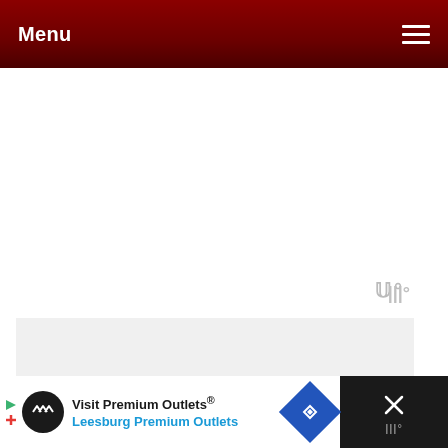Menu
[Figure (screenshot): White empty content area with a faint watermark logo (stylized W with degree symbol) in gray on the right side]
[Figure (screenshot): Gray rectangular content block below the white area]
[Figure (screenshot): Salmon/pink back-to-top button with upward chevron arrow]
[Figure (screenshot): Partial reCAPTCHA widget visible in bottom-right corner]
[Figure (screenshot): Advertisement banner at bottom: Visit Premium Outlets® / Leesburg Premium Outlets with logo and navigation arrow icon. Dark close button area on right with X and logo.]